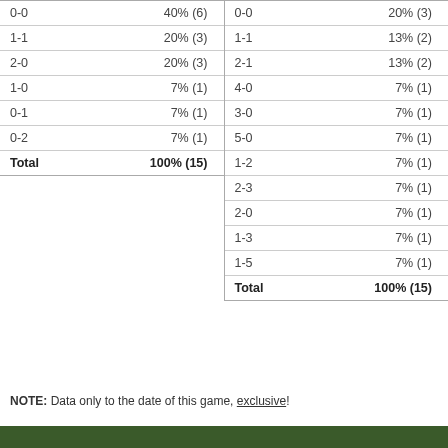| Score | % |
| --- | --- |
| 0-0 | 40% (6) |
| 1-1 | 20% (3) |
| 2-0 | 20% (3) |
| 1-0 | 7% (1) |
| 0-1 | 7% (1) |
| 0-2 | 7% (1) |
| Total | 100% (15) |
| Score | % |
| --- | --- |
| 0-0 | 20% (3) |
| 1-1 | 13% (2) |
| 2-1 | 13% (2) |
| 4-0 | 7% (1) |
| 3-0 | 7% (1) |
| 5-0 | 7% (1) |
| 1-2 | 7% (1) |
| 2-3 | 7% (1) |
| 2-0 | 7% (1) |
| 1-3 | 7% (1) |
| 1-5 | 7% (1) |
| Total | 100% (15) |
NOTE: Data only to the date of this game, exclusive!